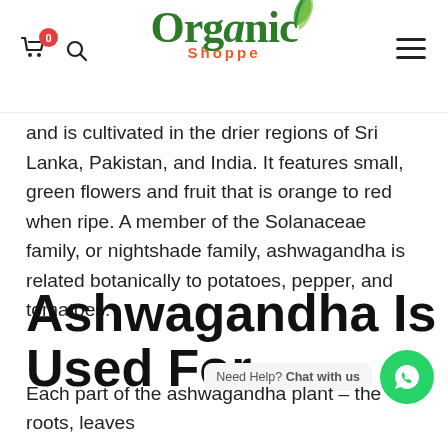Organic Shoppe — navigation header with cart (0), search, logo, and hamburger menu
and is cultivated in the drier regions of Sri Lanka, Pakistan, and India. It features small, green flowers and fruit that is orange to red when ripe. A member of the Solanaceae family, or nightshade family, ashwagandha is related botanically to potatoes, pepper, and tomatoes.
Ashwagandha Is Used For
Need Help? Chat with us
Each part of the ashwagandha plant – the roots, leaves